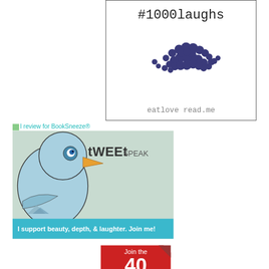[Figure (illustration): #1000laughs card with dot cluster graphic and 'eatloveread.me' text]
I review for BookSneeze®
[Figure (illustration): tWEEtSPEAK bird illustration with 'I support beauty, depth, & laughter. Join me!' banner]
[Figure (illustration): Join the 40 red badge with folded corner]